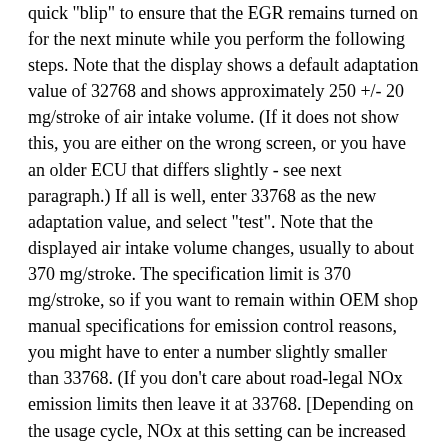quick "blip" to ensure that the EGR remains turned on for the next minute while you perform the following steps. Note that the display shows a default adaptation value of 32768 and shows approximately 250 +/- 20 mg/stroke of air intake volume. (If it does not show this, you are either on the wrong screen, or you have an older ECU that differs slightly - see next paragraph.) If all is well, enter 33768 as the new adaptation value, and select "test". Note that the displayed air intake volume changes, usually to about 370 mg/stroke. The specification limit is 370 mg/stroke, so if you want to remain within OEM shop manual specifications for emission control reasons, you might have to enter a number slightly smaller than 33768. (If you don't care about road-legal NOx emission limits then leave it at 33768. [Depending on the usage cycle, NOx at this setting can be increased by as much as 40%]) If all is well and you have a seting that you are happy with which results in an intake air volume of 370 mg/stroke or just a hair less, enter "save". Now your intake manifold either will never clog, or will take so long that the engine will wear out first.
Note for '96 Passat and possibly other older ECU